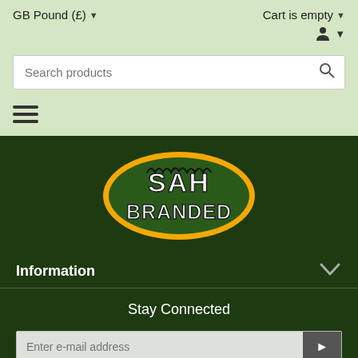GB Pound (£) ▾    Cart is empty ▾
[Figure (screenshot): Search products input bar with magnifying glass icon]
[Figure (other): Hamburger menu icon (three horizontal lines)]
[Figure (logo): SAH BRANDED logo — white text on green oval with orange border]
Information
Stay Connected
[Figure (other): Email input field with placeholder 'Enter e-mail address' and a submit arrow button]
[Figure (other): Partial bird logo icon at bottom]